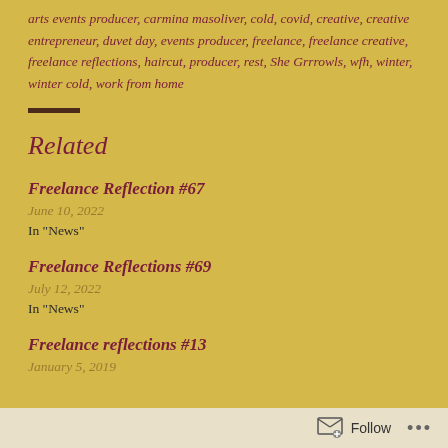arts events producer, carmina masoliver, cold, covid, creative, creative entrepreneur, duvet day, events producer, freelance, freelance creative, freelance reflections, haircut, producer, rest, She Grrrowls, wfh, winter, winter cold, work from home
Related
Freelance Reflection #67
June 10, 2022
In "News"
Freelance Reflections #69
July 12, 2022
In "News"
Freelance reflections #13
January 5, 2019
Follow